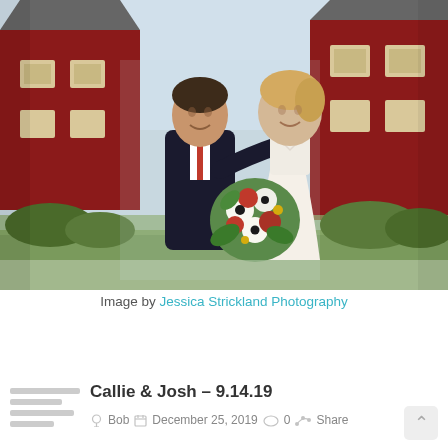[Figure (photo): Wedding photo of a bride and groom smiling at each other in front of a large red barn. The bride is wearing a halter-neck dress and holding a bouquet of white, red and green flowers. The groom is in a dark suit.]
Image by Jessica Strickland Photography
Callie & Josh – 9.14.19
Bob   December 25, 2019   0   Share